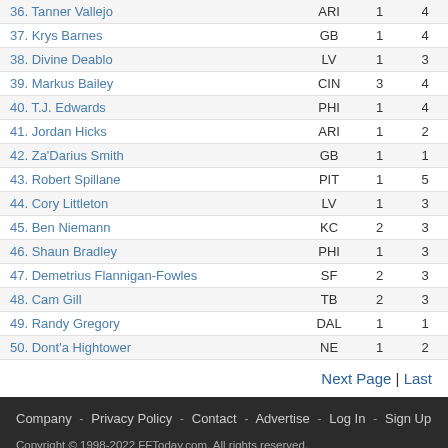| # | Name | Team | Col1 | Col2 |
| --- | --- | --- | --- | --- |
| 36. | Tanner Vallejo | ARI | 1 | 4 |
| 37. | Krys Barnes | GB | 1 | 4 |
| 38. | Divine Deablo | LV | 1 | 3 |
| 39. | Markus Bailey | CIN | 3 | 4 |
| 40. | T.J. Edwards | PHI | 1 | 4 |
| 41. | Jordan Hicks | ARI | 1 | 2 |
| 42. | Za'Darius Smith | GB | 1 | 1 |
| 43. | Robert Spillane | PIT | 1 | 5 |
| 44. | Cory Littleton | LV | 1 | 3 |
| 45. | Ben Niemann | KC | 2 | 3 |
| 46. | Shaun Bradley | PHI | 1 | 3 |
| 47. | Demetrius Flannigan-Fowles | SF | 2 | 3 |
| 48. | Cam Gill | TB | 2 | 3 |
| 49. | Randy Gregory | DAL | 1 | 1 |
| 50. | Dont'a Hightower | NE | 1 | 2 |
Next Page | Last
Company - Privacy Policy - Contact - Advertise - Log In - Sign Up
Copyright © 1998-2022 FFToday.com. All rights reserved.
FFToday.com is a member of the Fantasy Sports Trade Association.
Partner of USA TODAY Sports Digital Properties.